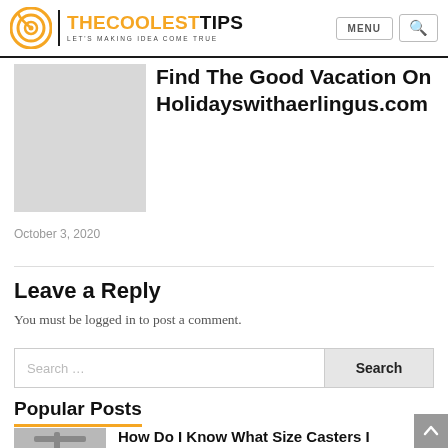THECOOLESTTIPS — LET'S MAKING IDEA COME TRUE | MENU
Find The Good Vacation On Holidayswithaerlingus.com
October 3, 2020
Leave a Reply
You must be logged in to post a comment.
Popular Posts
How Do I Know What Size Casters I Need?